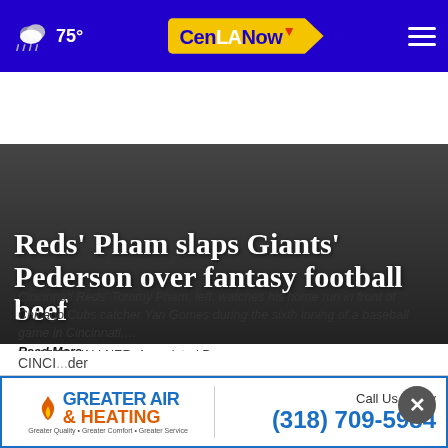75° CenLANow
Reds' Pham slaps Giants' Pederson over fantasy football beef
Cincinnati Reds' Tommy Pham, left, watches his home run in front of Chicago Cubs catcher Yan Gomes during the sixth inning of a baseball game in Cincinnati,…
Read More
by: JEFF WALLNER, Associated Press
Posted: May 27, 2022 / 05:11 PM CDT
Updated: May 28, 2022 / 12:45 AM CDT
SHARE
[Figure (infographic): Greater Air & Heating advertisement banner with phone number (318) 709-5984]
CINCI...der